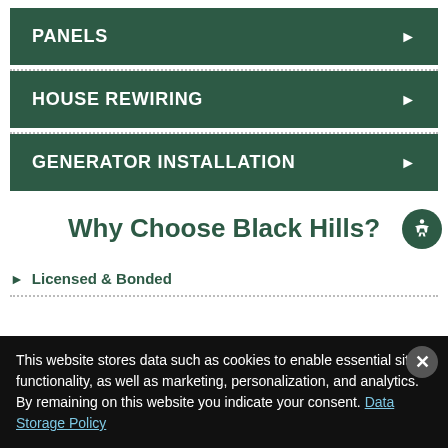PANELS
HOUSE REWIRING
GENERATOR INSTALLATION
Why Choose Black Hills?
Licensed & Bonded
This website stores data such as cookies to enable essential site functionality, as well as marketing, personalization, and analytics. By remaining on this website you indicate your consent. Data Storage Policy